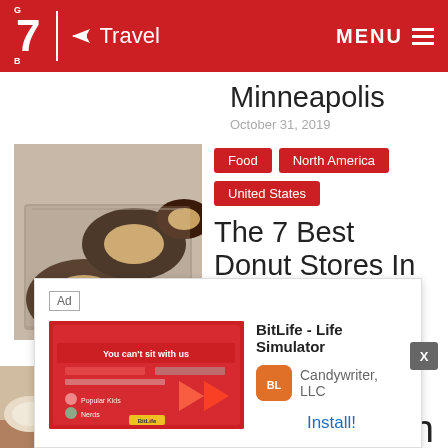BIG 7 Travel ✈ MENU
Minneapolis
October 31, 2019
[Figure (photo): Chocolate glazed donuts on a tray]
Food
North America
United States
The 7 Best Donut Stores In Minneapolis
October 25, 2019
[Figure (screenshot): Ad: BitLife - Life Simulator by Candywriter, LLC. Install button shown.]
[Figure (photo): Partial photo of food on a wooden table (bottom article)]